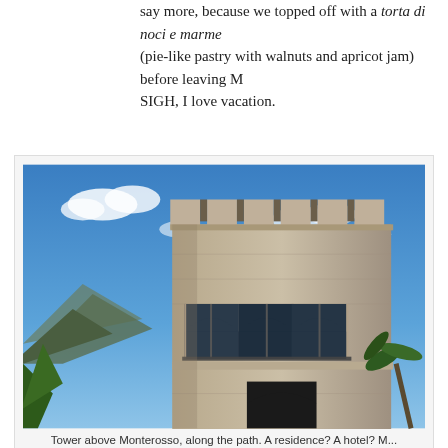say more, because we topped off with a torta di noci e marmellata (pie-like pastry with walnuts and apricot jam) before leaving M... SIGH, I love vacation.
[Figure (photo): Photograph of a tall stone castle-like tower with gothic arched windows and battlements at the top, set against a blue sky with clouds. Green mountains in background. Palm tree visible at lower right. Located above Monterosso along a path.]
Tower above Monterosso, along the path. A residence? A hotel? M...